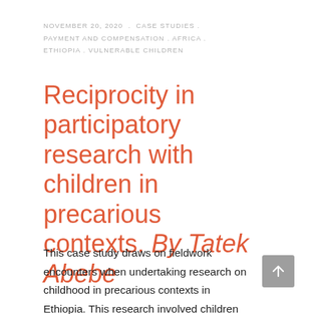NOVEMBER 20, 2020 . CASE STUDIES . PAYMENT AND COMPENSATION . AFRICA . ETHIOPIA . VULNERABLE CHILDREN
Reciprocity in participatory research with children in precarious contexts. By Tatek Abebe
This case study draws on fieldwork encounters when undertaking research on childhood in precarious contexts in Ethiopia. This research involved children